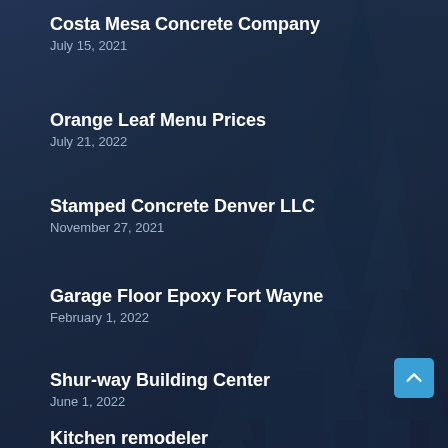Costa Mesa Concrete Company
July 15, 2021
Orange Leaf Menu Prices
July 21, 2022
Stamped Concrete Denver LLC
November 27, 2021
Garage Floor Epoxy Fort Wayne
February 1, 2022
Shur-way Building Center
June 1, 2022
Kitchen remodeler